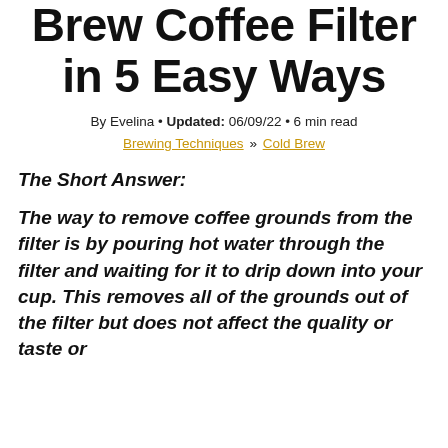Brew Coffee Filter in 5 Easy Ways
By Evelina • Updated: 06/09/22 • 6 min read
Brewing Techniques » Cold Brew
The Short Answer:
The way to remove coffee grounds from the filter is by pouring hot water through the filter and waiting for it to drip down into your cup. This removes all of the grounds out of the filter but does not affect the quality or taste or